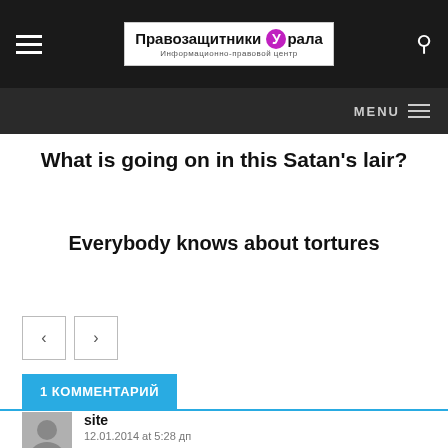Правозащитники Урала — Информационно-правовой центр
What is going on in this Satan's lair?
Everybody knows about tortures
1 КОММЕНТАРИЙ
site
12.01.2014 at 5:28 дп